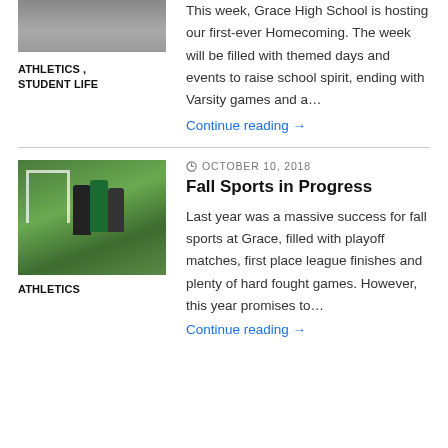[Figure (photo): Partial top image cut off at top of page]
ATHLETICS , STUDENT LIFE
This week, Grace High School is hosting our first-ever Homecoming. The week will be filled with themed days and events to raise school spirit, ending with Varsity games and a…
Continue reading →
OCTOBER 10, 2018
[Figure (photo): Students playing soccer on a grass field with goal post in background]
ATHLETICS
Fall Sports in Progress
Last year was a massive success for fall sports at Grace, filled with playoff matches, first place league finishes and plenty of hard fought games. However, this year promises to…
Continue reading →